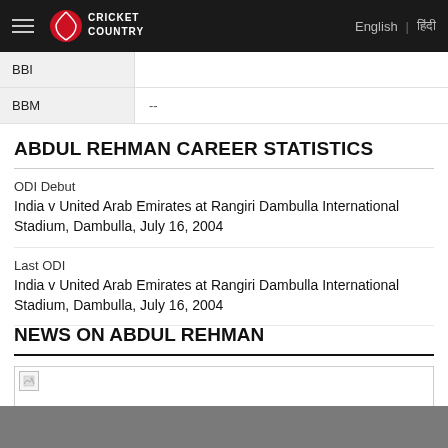Cricket Country | English | हिंदी
|  |  |
| --- | --- |
| BBI |  |
| BBM | -- |
ABDUL REHMAN CAREER STATISTICS
ODI Debut
India v United Arab Emirates at Rangiri Dambulla International Stadium, Dambulla, July 16, 2004
Last ODI
India v United Arab Emirates at Rangiri Dambulla International Stadium, Dambulla, July 16, 2004
NEWS ON ABDUL REHMAN
[Figure (photo): Broken image placeholder for news article about Abdul Rehman]